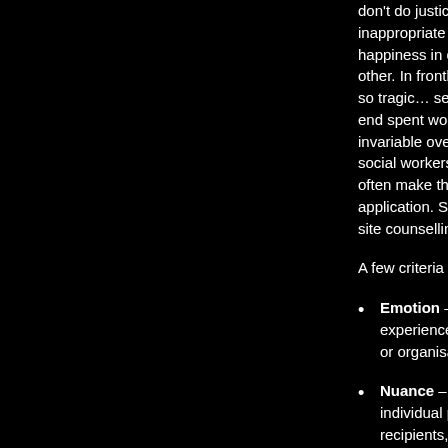don't do justice via the inappropriate to their ch happiness in conversati other. In frontline servic so tragic… self-care gu end spent working with invariable oversimplifica social workers are for th often make these kind application. Something site counselling services
A few criteria for thinking
Emotion – even o experience itself. Ye or organisation, so w
Nuance – two seem individual perception recipients, dependin especially well.